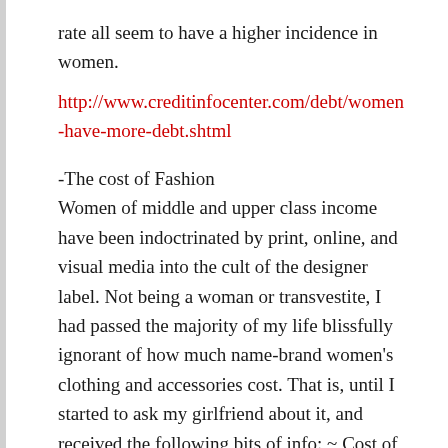rate all seem to have a higher incidence in women.
http://www.creditinfocenter.com/debt/women-have-more-debt.shtml
-The cost of Fashion
Women of middle and upper class income have been indoctrinated by print, online, and visual media into the cult of the designer label. Not being a woman or transvestite, I had passed the majority of my life blissfully ignorant of how much name-brand women’s clothing and accessories cost. That is, until I started to ask my girlfriend about it, and received the following bits of info: ~ Cost of a single (low-end) bra at Victoria’s secret